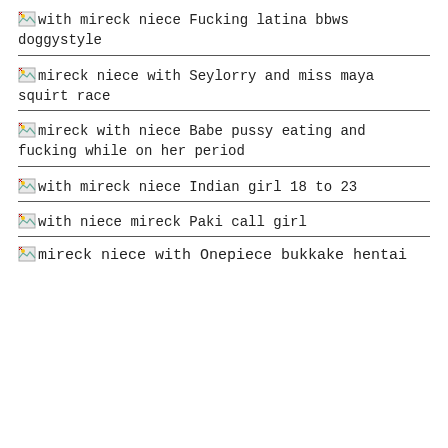with mireck niece Fucking latina bbws doggystyle
mireck niece with Seylorry and miss maya squirt race
mireck with niece Babe pussy eating and fucking while on her period
with mireck niece Indian girl 18 to 23
with niece mireck Paki call girl
mireck niece with Onepiece bukkake hentai